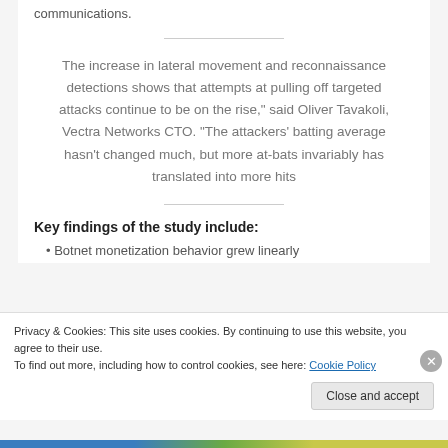communications.
The increase in lateral movement and reconnaissance detections shows that attempts at pulling off targeted attacks continue to be on the rise," said Oliver Tavakoli, Vectra Networks CTO. "The attackers' batting average hasn't changed much, but more at-bats invariably has translated into more hits
Key findings of the study include:
Botnet monetization behavior grew linearly
Privacy & Cookies: This site uses cookies. By continuing to use this website, you agree to their use.
To find out more, including how to control cookies, see here: Cookie Policy
Close and accept